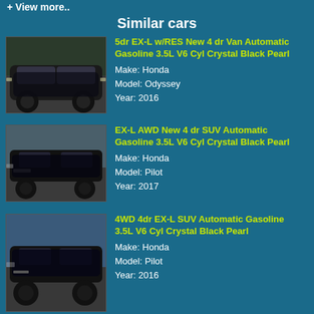+ View more..
Similar cars
[Figure (photo): Black Honda Odyssey minivan parked in a lot]
5dr EX-L w/RES New 4 dr Van Automatic Gasoline 3.5L V6 Cyl Crystal Black Pearl
Make: Honda
Model: Odyssey
Year: 2016
[Figure (photo): Black Honda Pilot SUV parked outdoors]
EX-L AWD New 4 dr SUV Automatic Gasoline 3.5L V6 Cyl Crystal Black Pearl
Make: Honda
Model: Pilot
Year: 2017
[Figure (photo): Black Honda Pilot SUV parked at dealership]
4WD 4dr EX-L SUV Automatic Gasoline 3.5L V6 Cyl Crystal Black Pearl
Make: Honda
Model: Pilot
Year: 2016